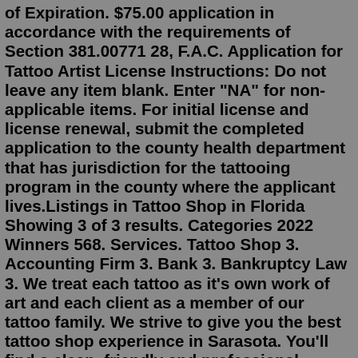of Expiration. $75.00 application in accordance with the requirements of Section 381.00771 28, F.A.C. Application for Tattoo Artist License Instructions: Do not leave any item blank. Enter "NA" for non-applicable items. For initial license and license renewal, submit the completed application to the county health department that has jurisdiction for the tattooing program in the county where the applicant lives.Listings in Tattoo Shop in Florida Showing 3 of 3 results. Categories 2022 Winners 568. Services. Tattoo Shop 3. Accounting Firm 3. Bank 3. Bankruptcy Law 3. We treat each tattoo as it's own work of art and each client as a member of our tattoo family. We strive to give you the best tattoo shop experience in Sarasota. You'll find a clean, friendly and professional environment. Each tattoo is done by fully licensed, experienced tattoo artists using fully disposable set ups, and only the finest inks.Nov 18, 2020 · Tattoo shops are not just about creating good art on the skin. You have to run a shop that is profitable, this way you stay in business. Therefore, it is vital not to skip out